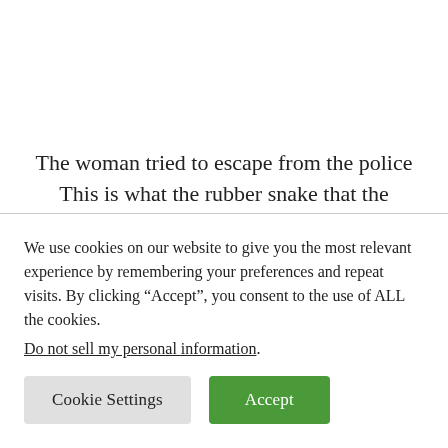The woman tried to escape from the police This is what the rubber snake that the woman threw looked like
The woman tried to escape...
We use cookies on our website to give you the most relevant experience by remembering your preferences and repeat visits. By clicking “Accept”, you consent to the use of ALL the cookies.
Do not sell my personal information.